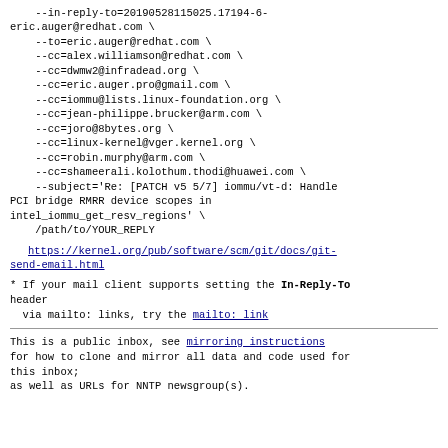--in-reply-to=20190528115025.17194-6-eric.auger@redhat.com \
    --to=eric.auger@redhat.com \
    --cc=alex.williamson@redhat.com \
    --cc=dwmw2@infradead.org \
    --cc=eric.auger.pro@gmail.com \
    --cc=iommu@lists.linux-foundation.org \
    --cc=jean-philippe.brucker@arm.com \
    --cc=joro@8bytes.org \
    --cc=linux-kernel@vger.kernel.org \
    --cc=robin.murphy@arm.com \
    --cc=shameerali.kolothum.thodi@huawei.com \
    --subject='Re: [PATCH v5 5/7] iommu/vt-d: Handle PCI bridge RMRR device scopes in intel_iommu_get_resv_regions' \
    /path/to/YOUR_REPLY
https://kernel.org/pub/software/scm/git/docs/git-send-email.html
* If your mail client supports setting the In-Reply-To header
  via mailto: links, try the mailto: link
This is a public inbox, see mirroring instructions
for how to clone and mirror all data and code used for this inbox;
as well as URLs for NNTP newsgroup(s).